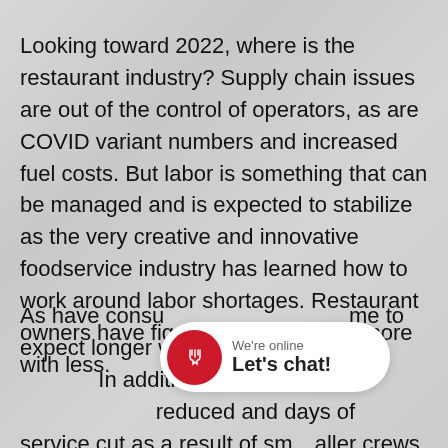Looking toward 2022, where is the restaurant industry? Supply chain issues are out of the control of operators, as are COVID variant numbers and increased fuel costs. But labor is something that can be managed and is expected to stabilize as the very creative and innovative foodservice industry has learned how to work around labor shortages. Restaurant owners have figured out how to do more with less.
As have consumers, who have come to expect longer wait times and smaller menus. In addition, patrons know hours of operation are reduced and days of service cut as a result of smaller crews.
[Figure (other): Chat widget overlay showing a red circle with fork and knife icon, text 'We're online' above 'Let's chat!' in bold, on a white rounded rectangle.]